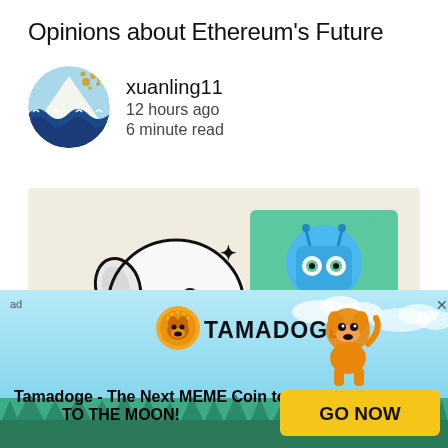Opinions about Ethereum's Future
xuanling11
12 hours ago
6 minute read
[Figure (illustration): NFT giveaway banner showing a dog illustration on the left, a blue robot/character NFT on the right, trees silhouette at bottom, text reading 'Three Days of NFT Giveaways' and 'The Vogu Collective']
[Figure (advertisement): Tamadoge advertisement banner with light blue sky background, trees, Tamadoge coin logo, cartoon dog, text 'Tamadoge - The Next MEME Coin to go TO THE MOON!' and 'GO NOW' button]